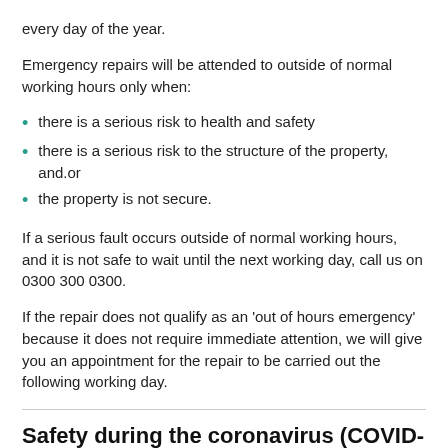every day of the year.
Emergency repairs will be attended to outside of normal working hours only when:
there is a serious risk to health and safety
there is a serious risk to the structure of the property, and.or
the property is not secure.
If a serious fault occurs outside of normal working hours, and it is not safe to wait until the next working day, call us on 0300 300 0300.
If the repair does not qualify as an 'out of hours emergency' because it does not require immediate attention, we will give you an appointment for the repair to be carried out the following working day.
Safety during the coronavirus (COVID-19)